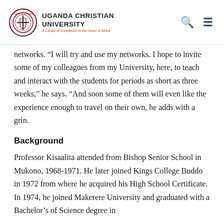Uganda Christian University — A Center of Excellence in the Heart of Africa
networks. “I will try and use my networks. I hope to invite some of my colleagues from my University, here, to teach and interact with the students for periods as short as three weeks,” he says. “And soon some of them will even like the experience enough to travel on their own, he adds with a grin.
Background
Professor Kisaalita attended from Bishop Senior School in Mukono, 1968-1971. He later joined Kings College Buddo in 1972 from where he acquired his High School Certificate. In 1974, he joined Makerere University and graduated with a Bachelor’s of Science degree in